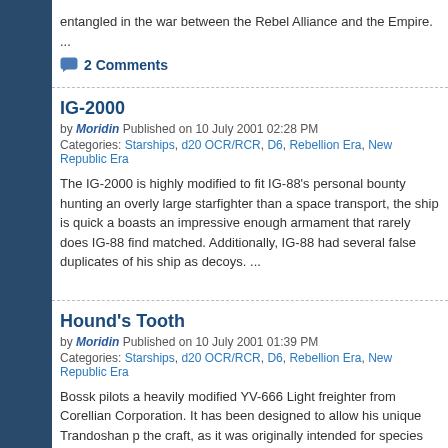entangled in the war between the Rebel Alliance and the Empire. ...
2 Comments
IG-2000
by Moridin Published on 10 July 2001 02:28 PM
Categories: Starships, d20 OCR/RCR, D6, Rebellion Era, New Republic Era
The IG-2000 is highly modified to fit IG-88's personal bounty hunting an overly large starfighter than a space transport, the ship is quick a boasts an impressive enough armament that rarely does IG-88 find matched. Additionally, IG-88 had several false duplicates of his ship as decoys. ...
Hound's Tooth
by Moridin Published on 10 July 2001 01:39 PM
Categories: Starships, d20 OCR/RCR, D6, Rebellion Era, New Republic Era
Bossk pilots a heavily modified YV-666 Light freighter from Corellian Corporation. It has been designed to allow his unique Trandoshan p the craft, as it was originally intended for species with more human l
2 Comments
Fusion Cutter
by Moridin Published on 20 June 2001 01:30 PM